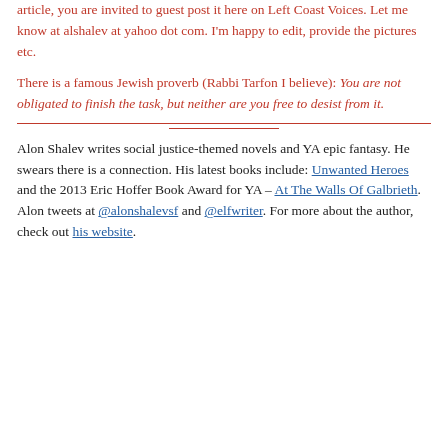article, you are invited to guest post it here on Left Coast Voices. Let me know at alshalev at yahoo dot com. I'm happy to edit, provide the pictures etc.
There is a famous Jewish proverb (Rabbi Tarfon I believe): You are not obligated to finish the task, but neither are you free to desist from it.
Alon Shalev writes social justice-themed novels and YA epic fantasy. He swears there is a connection. His latest books include: Unwanted Heroes and the 2013 Eric Hoffer Book Award for YA – At The Walls Of Galbrieth. Alon tweets at @alonshalevsf and @elfwriter. For more about the author, check out his website.